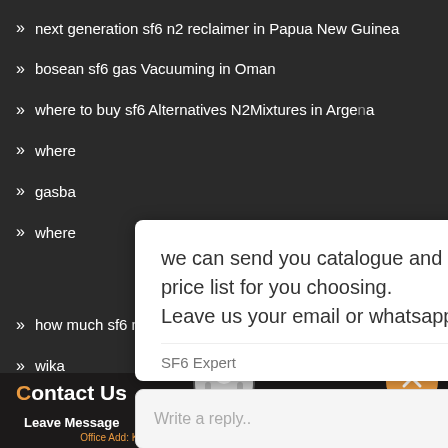next generation sf6 n2 reclaimer in Papua New Guinea
bosean sf6 gas Vacuuming in Oman
where to buy sf6 Alternatives N2Mixtures in Argentina
where
gasba
where ... emocratic
how much sf6 mix purification device in Greenland
wika
[Figure (screenshot): Chat popup overlay with message: 'we can send you catalogue and price list for you choosing. Leave us your email or whatsapp .' Sender: SF6 Expert, Time: just now. Reply input box below.]
Contact Us
Leave Message
Chat Online
Office Add: Kexue Revenue, High and New Technology Industrial